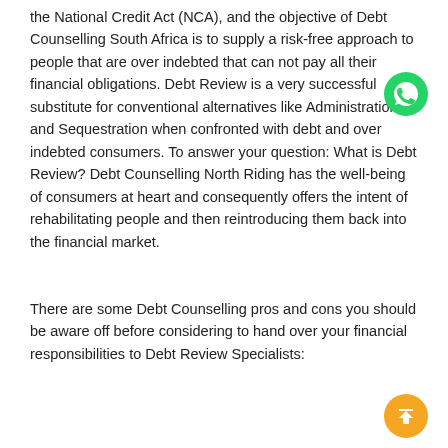the National Credit Act (NCA), and the objective of Debt Counselling South Africa is to supply a risk-free approach to people that are over indebted that can not pay all their financial obligations. Debt Review is a very successful substitute for conventional alternatives like Administration and Sequestration when confronted with debt and over indebted consumers. To answer your question: What is Debt Review? Debt Counselling North Riding has the well-being of consumers at heart and consequently offers the intent of rehabilitating people and then reintroducing them back into the financial market.
[Figure (illustration): WhatsApp green phone icon (circular green background with white phone handset)]
There are some Debt Counselling pros and cons you should be aware off before considering to hand over your financial responsibilities to Debt Review Specialists:
[Figure (illustration): Golden/yellow circular scroll-to-top button with upward chevron arrows]